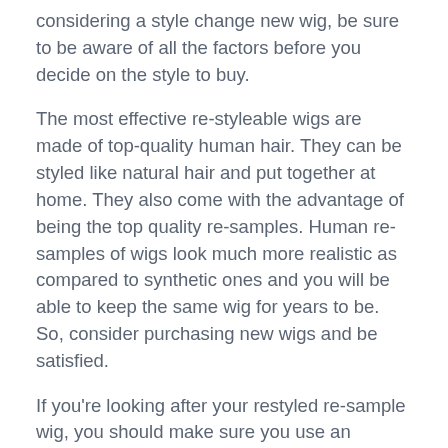considering a style change new wig, be sure to be aware of all the factors before you decide on the style to buy.
The most effective re-styleable wigs are made of top-quality human hair. They can be styled like natural hair and put together at home. They also come with the advantage of being the top quality re-samples. Human re-samples of wigs look much more realistic as compared to synthetic ones and you will be able to keep the same wig for years to be. So, consider purchasing new wigs and be satisfied.
If you're looking after your restyled re-sample wig, you should make sure you use an excellent quality wig shampoo and conditioner. They also are likely to react differently to variations in temperature and climate So, make sure to follow the directions on the label. Restyled wigs are designed to last for a few years. You can't go